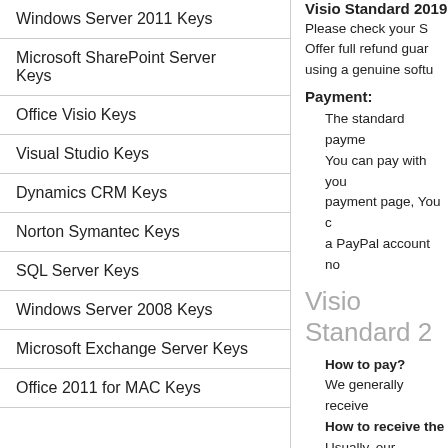Windows Server 2011 Keys
Microsoft SharePoint Server Keys
Office Visio Keys
Visual Studio Keys
Dynamics CRM Keys
Norton Symantec Keys
SQL Server Keys
Windows Server 2008 Keys
Microsoft Exchange Server Keys
Office 2011 for MAC Keys
Visio Standard 2019
Please check your S... Offer full refund guar... using a genuine softu...
Payment:
The standard payme... You can pay with you... payment page, You c... a PayPal account no...
Visio Standard 2...
How to pay?
We generally receive...
How to receive the...
Usually, our custome... delivery time takes a... Please contact us firs... appreciated. If you d...
How to receive the...
We give 3 methods f...
1. BT/eMule downloa...
If you don't have eM... project.net/home/per...
2. HTTP download li... to begin if you agree...
3. USB Flash Drive 8...